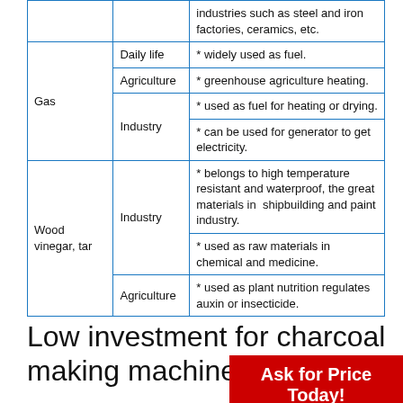|  | Sector | Application |
| --- | --- | --- |
|  |  | industries such as steel and iron factories, ceramics, etc. |
| Gas | Daily life | * widely used as fuel. |
| Gas | Agriculture | * greenhouse agriculture heating. |
| Gas | Industry | * used as fuel for heating or drying. |
| Gas | Industry | * can be used for generator to get electricity. |
| Wood vinegar, tar | Industry | * belongs to high temperature resistant and waterproof, the great materials in shipbuilding and paint industry. |
| Wood vinegar, tar | Industry | * used as raw materials in chemical and medicine. |
| Wood vinegar, tar | Agriculture | * used as plant nutrition regulates auxin or insecticide. |
Low investment for charcoal making machine suppliers
Ask for Price Today!